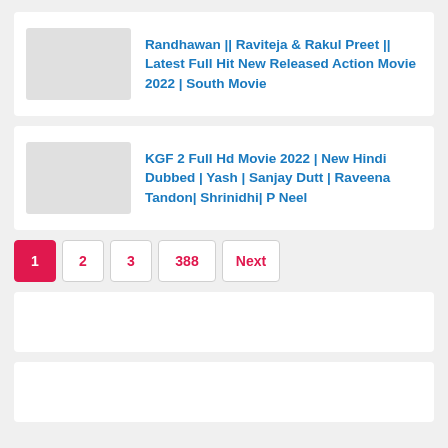Randhawan || Raviteja & Rakul Preet || Latest Full Hit New Released Action Movie 2022 | South Movie
KGF 2 Full Hd Movie 2022 | New Hindi Dubbed | Yash | Sanjay Dutt | Raveena Tandon| Shrinidhi| P Neel
1  2  3  388  Next